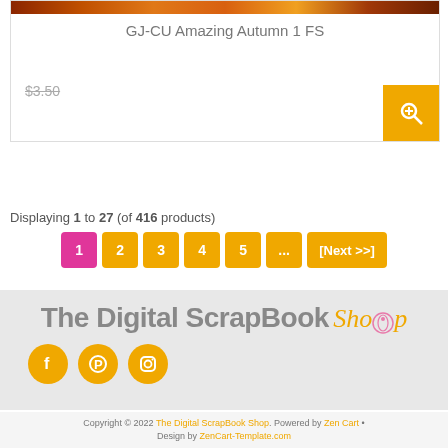[Figure (photo): Partial product card showing 'GJ-CU Amazing Autumn 1 FS' with a colorful autumn-themed image strip at top, strikethrough price $3.50, and a yellow quick-view magnifier button]
GJ-CU Amazing Autumn 1 FS
$3.50
Displaying 1 to 27 (of 416 products)
1 2 3 4 5 ... [Next >>]
[Figure (logo): The Digital ScrapBook Shop logo with gray bold text and orange cursive 'Shop' with a pink rose icon, followed by three orange social media icons (Facebook, Pinterest, Instagram)]
Copyright © 2022 The Digital ScrapBook Shop. Powered by Zen Cart • Design by ZenCart-Template.com